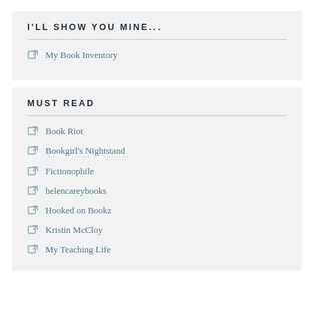I'LL SHOW YOU MINE...
My Book Inventory
MUST READ
Book Riot
Bookgirl's Nightstand
Fictionophile
helencareybooks
Hooked on Bookz
Kristin McCloy
My Teaching Life